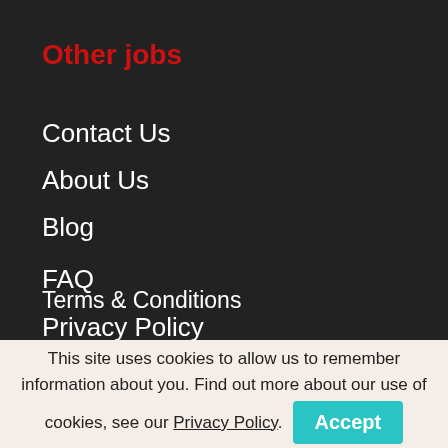Other jobs
Contact Us
About Us
Blog
FAQ
Terms & Conditions
Privacy Policy
This site uses cookies to allow us to remember information about you. Find out more about our use of cookies, see our Privacy Policy.